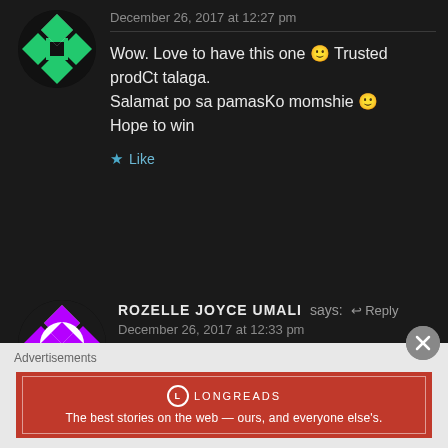[Figure (illustration): Circular avatar with green and white geometric/diamond pattern on dark background]
December 26, 2017 at 12:27 pm
Wow. Love to have this one 🙂 Trusted prodCt talaga.
Salamat po sa pamasKo momshie 🙂
Hope to win
★ Like
[Figure (illustration): Circular avatar with purple and white geometric/diamond pattern on dark background]
ROZELLE JOYCE UMALI says: ↩ Reply
December 26, 2017 at 12:33 pm
Joined! Hoping to win..god bless and
Advertisements
[Figure (logo): Longreads advertisement banner: red background with Longreads logo and tagline 'The best stories on the web — ours, and everyone else's.']